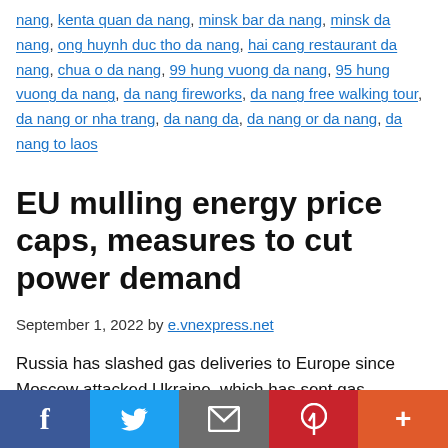nang, kenta quan da nang, minsk bar da nang, minsk da nang, ong huynh duc tho da nang, hai cang restaurant da nang, chua o da nang, 99 hung vuong da nang, 95 hung vuong da nang, da nang fireworks, da nang free walking tour, da nang or nha trang, da nang da, da nang or da nang, da nang to laos
EU mulling energy price caps, measures to cut power demand
September 1, 2022 by e.vnexpress.net
Russia has slashed gas deliveries to Europe since Moscow attacked Ukraine, which has sent gas